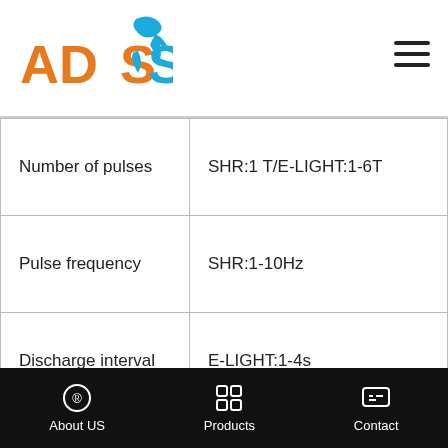ADSS logo and navigation menu
| Parameter | Value |
| --- | --- |
| Number of pulses | SHR:1 T/E-LIGHT:1-6T |
| Pulse frequency | SHR:1-10Hz |
| Discharge interval | E-LIGHT:1-4s |
| Number of handles | 2 pcs |
| Spot size | 10*50mm |
| Lifespan of lamp | 1 million shots |
About US | Products | Contact